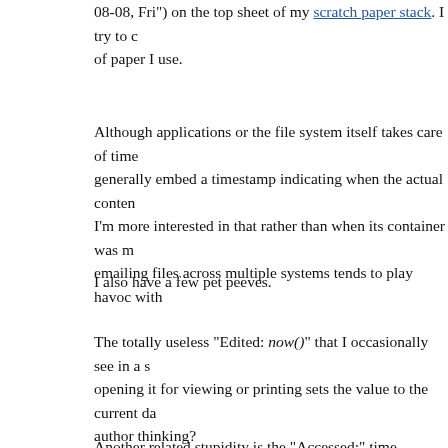08-08, Fri") on the top sheet of my scratch paper stack. I try to c of paper I use.
Although applications or the file system itself takes care of time generally embed a timestamp indicating when the actual conten I’m more interested in that rather than when its container was m emailing files across multiple systems tends to play havoc with
I also have a few pet peeves.
The totally useless “Edited: now()” that I occasionally see in a s opening it for viewing or printing sets the value to the current da author thinking?
Another related stupidity is the “Accessed:” time displayed by N file for properties. Amazingly it’s always right now. You’d think this done right on other operating systems, they’d know better t when asking for that metadata. Either fix it or remove it from th